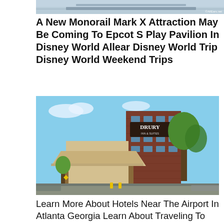[Figure (photo): Aerial or top-down photo of a theme park area, partially visible at top of page. Watermark reads ©AllEars.net]
A New Monorail Mark X Attraction May Be Coming To Epcot S Play Pavilion In Disney World Allear Disney World Trip Disney World Weekend Trips
[Figure (photo): Exterior photo of a Drury Inn & Suites hotel building with canopy entrance, brick facade, and trees in background]
Learn More About Hotels Near The Airport In Atlanta Georgia Learn About Traveling To Hotels In And Vacations In Atlanta Drury Inn Drury Inn Hotel Suites